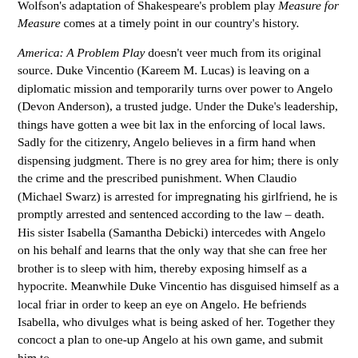Wolfson's adaptation of Shakespeare's problem play Measure for Measure comes at a timely point in our country's history.
America: A Problem Play doesn't veer much from its original source. Duke Vincentio (Kareem M. Lucas) is leaving on a diplomatic mission and temporarily turns over power to Angelo (Devon Anderson), a trusted judge. Under the Duke's leadership, things have gotten a wee bit lax in the enforcing of local laws. Sadly for the citizenry, Angelo believes in a firm hand when dispensing judgment. There is no grey area for him; there is only the crime and the prescribed punishment. When Claudio (Michael Swarz) is arrested for impregnating his girlfriend, he is promptly arrested and sentenced according to the law – death. His sister Isabella (Samantha Debicki) intercedes with Angelo on his behalf and learns that the only way that she can free her brother is to sleep with him, thereby exposing himself as a hypocrite. Meanwhile Duke Vincentio has disguised himself as a local friar in order to keep an eye on Angelo. He befriends Isabella, who divulges what is being asked of her. Together they concoct a plan to one-up Angelo at his own game, and submit him to